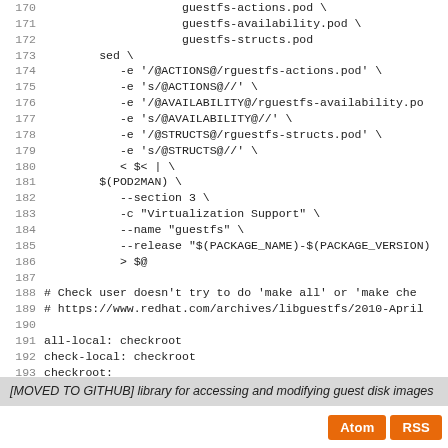Source code listing lines 170-197 of a Makefile
[MOVED TO GITHUB] library for accessing and modifying guest disk images
Atom RSS